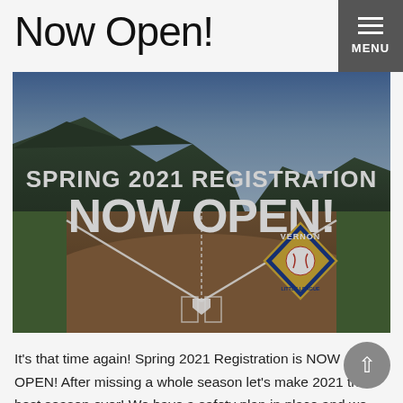Now Open!
[Figure (photo): Baseball diamond at dusk with mountains in the background. Text overlay reads 'SPRING 2021 REGISTRATION NOW OPEN!' with Vernon Little League logo in the bottom right.]
It's that time again! Spring 2021 Registration is NOW OPEN! After missing a whole season let's make 2021 the best season ever! We have a safety plan in place and we are ready to go! If